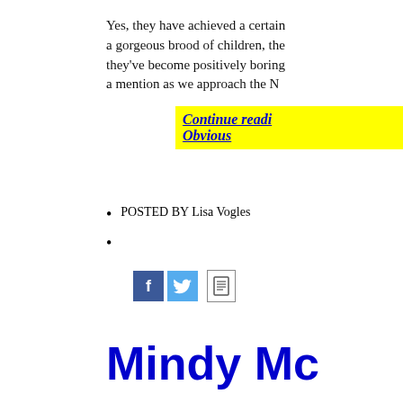Yes, they have achieved a certain a gorgeous brood of children, the they've become positively boring a mention as we approach the N
Continue reading Obvious
POSTED BY Lisa Vogles
[Figure (other): Social share icons: Facebook (blue), Twitter (blue bird), document icon]
Mindy Mc